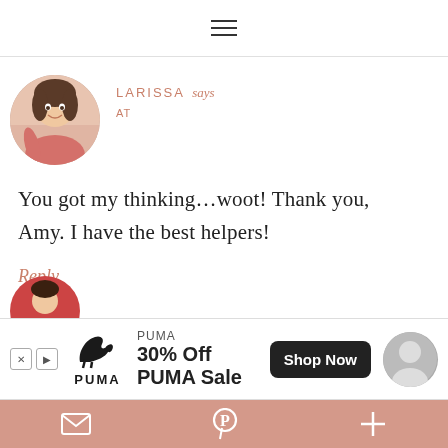≡
LARISSA says
AT
You got my thinking…woot! Thank you, Amy. I have the best helpers!
Reply
[Figure (screenshot): Advertisement banner: PUMA logo, text '30% Off PUMA Sale', black 'Shop Now' button]
Email | Pinterest | Plus